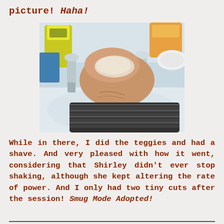picture! Haha!
[Figure (photo): A person's hand cleaning or polishing a bathroom sink tap/faucet with a cloth. Dish soap bottles visible in background. The person is wearing a dark striped sleeve.]
While in there, I did the teggies and had a shave. And very pleased with how it went, considering that Shirley didn't ever stop shaking, although she kept altering the rate of power. And I only had two tiny cuts after the session! Smug Mode Adopted!